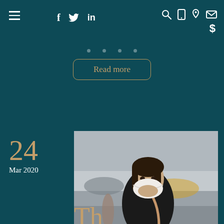≡  f  🐦  in  🔍  📱  📍  ✉  $
Read more
24
Mar 2020
[Figure (photo): Woman wearing a white face mask standing on a city street, wearing a black puffer jacket with a tan bag strap, blurred urban background with cars and pedestrians]
Th…